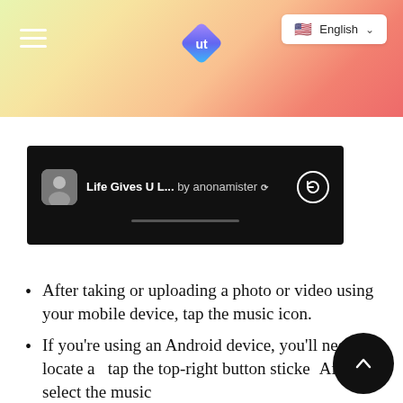[Figure (screenshot): Header gradient bar with hamburger menu, UT diamond logo, and English language selector dropdown]
[Figure (screenshot): Black story bar showing 'Life Gives U L...by anonamister' with avatar, refresh icon, and progress bar]
After taking or uploading a photo or video using your mobile device, tap the music icon.
If you're using an Android device, you'll need to locate and tap the top-right button sticker. After that, select the music